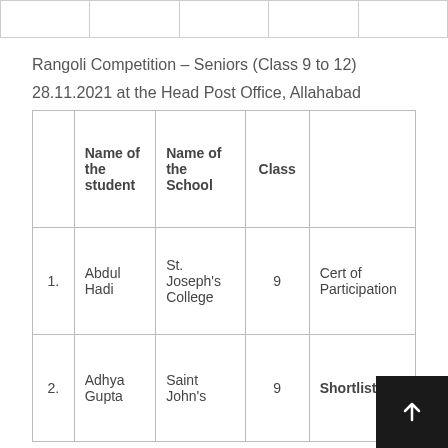|  |  |  |  |  |
Rangoli Competition – Seniors (Class 9 to 12)
28.11.2021 at the Head Post Office, Allahabad
|  | Name of the student | Name of the School | Class |  |
| --- | --- | --- | --- | --- |
| 1. | Abdul Hadi | St. Joseph's College | 9 | Cert of Participation |
| 2. | Adhya Gupta | Saint John's ... | 9 | Shortlisted |